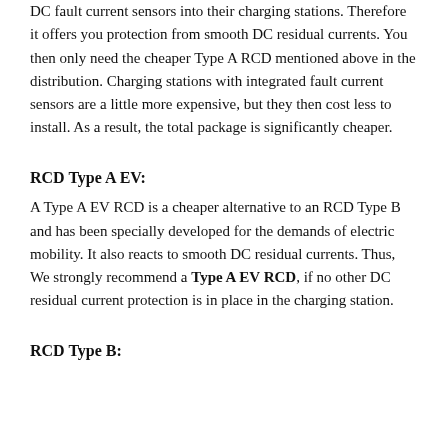DC fault current sensors into their charging stations. Therefore it offers you protection from smooth DC residual currents. You then only need the cheaper Type A RCD mentioned above in the distribution. Charging stations with integrated fault current sensors are a little more expensive, but they then cost less to install. As a result, the total package is significantly cheaper.
RCD Type A EV:
A Type A EV RCD is a cheaper alternative to an RCD Type B and has been specially developed for the demands of electric mobility. It also reacts to smooth DC residual currents. Thus, We strongly recommend a Type A EV RCD, if no other DC residual current protection is in place in the charging station.
RCD Type B: